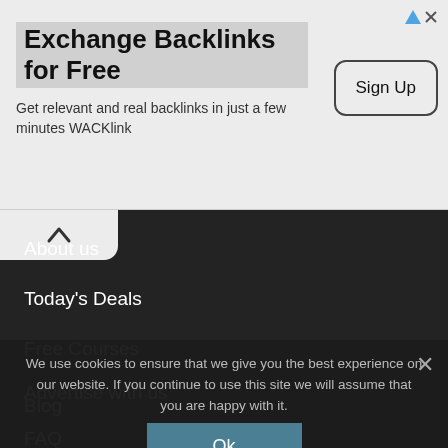[Figure (screenshot): Advertisement banner for WACKlink backlink exchange service with Sign Up button]
Exchange Backlinks for Free
Get relevant and real backlinks in just a few minutes WACKlink
About us
Today's Deals
Free Courses
Free Ebooks
Advertise with us
Blog
FAQ
Contact us
We use cookies to ensure that we give you the best experience on our website. If you continue to use this site we will assume that you are happy with it.